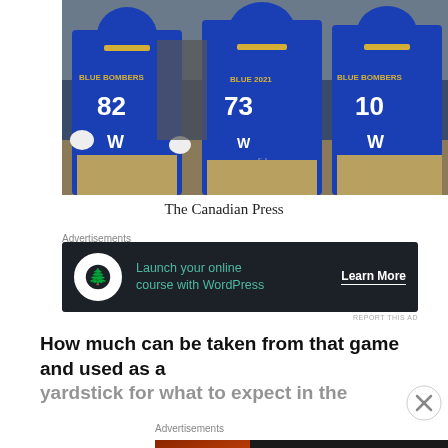[Figure (photo): Winnipeg Blue Bombers CFL football players in blue and gold uniforms on the field, including players #82, #73, and #10]
The Canadian Press
Advertisements
[Figure (screenshot): Advertisement banner: Launch your online course with WordPress — Learn More]
How much can be taken from that game and used as a
Advertisements
[Figure (screenshot): Seamless food delivery advertisement — ORDER NOW]